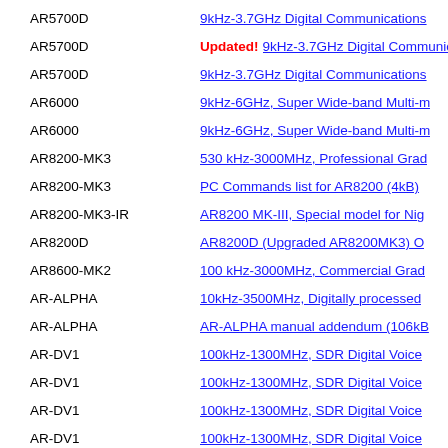AR5700D | 9kHz-3.7GHz Digital Communications
AR5700D | Updated! | 9kHz-3.7GHz Digital Communications
AR5700D | 9kHz-3.7GHz Digital Communications
AR6000 | 9kHz-6GHz, Super Wide-band Multi-m
AR6000 | 9kHz-6GHz, Super Wide-band Multi-m
AR8200-MK3 | 530 kHz-3000MHz, Professional Grad
AR8200-MK3 | PC Commands list for AR8200 (4kB)
AR8200-MK3-IR | AR8200 MK-III, Special model for Nig
AR8200D | AR8200D (Upgraded AR8200MK3) O
AR8600-MK2 | 100 kHz-3000MHz, Commercial Grad
AR-ALPHA | 10kHz-3500MHz, Digitally processed
AR-ALPHA | AR-ALPHA manual addendum (106kB
AR-DV1 | 100kHz-1300MHz, SDR Digital Voice
AR-DV1 | 100kHz-1300MHz, SDR Digital Voice
AR-DV1 | 100kHz-1300MHz, SDR Digital Voice
AR-DV1 | 100kHz-1300MHz, SDR Digital Voice
AR-DV1 | AR-DV1 firmware update procedures